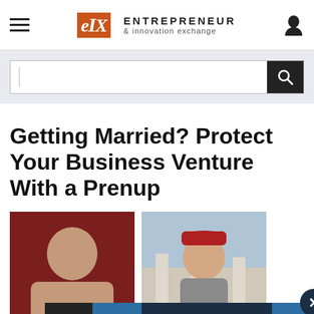eIX entrepreneur & innovation exchange
Getting Married? Protect Your Business Venture With a Prenup
[Figure (photo): Headshot of James Hoffman against dark red background]
[Figure (photo): Photo of second author outdoors near columns, wearing red cap]
by James Hoffm...
Category: Applic... Startups Prenu...
[Figure (infographic): LinkedIn connect with us overlay banner with close button]